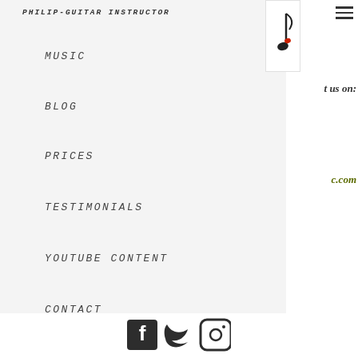PHILIP-GUITAR INSTRUCTOR
MUSIC
BLOG
PRICES
TESTIMONIALS
YOUTUBE CONTENT
CONTACT
t us on:
c.com
[Figure (illustration): Music note logo image - white background with a musical note illustration]
[Figure (infographic): Social media icons: Facebook, Twitter, Instagram]